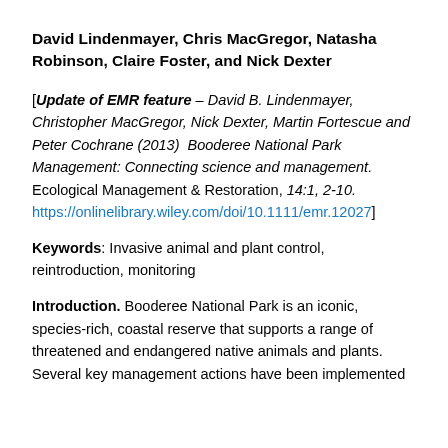David Lindenmayer, Chris MacGregor, Natasha Robinson, Claire Foster, and Nick Dexter
[Update of EMR feature – David B. Lindenmayer, Christopher MacGregor, Nick Dexter, Martin Fortescue and Peter Cochrane (2013)  Booderee National Park Management: Connecting science and management. Ecological Management & Restoration, 14:1, 2-10. https://onlinelibrary.wiley.com/doi/10.1111/emr.12027]
Keywords: Invasive animal and plant control, reintroduction, monitoring
Introduction. Booderee National Park is an iconic, species-rich, coastal reserve that supports a range of threatened and endangered native animals and plants. Several key management actions have been implemented